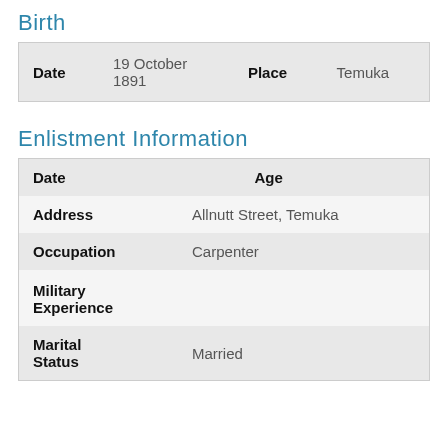Birth
| Date | Place |
| --- | --- |
| 19 October 1891 | Temuka |
Enlistment Information
| Date | Age | Address | Occupation | Military Experience | Marital Status |
| --- | --- | --- | --- | --- | --- |
|  |  |
| Allnutt Street, Temuka |  |
| Carpenter |  |
|  |  |
| Married |  |